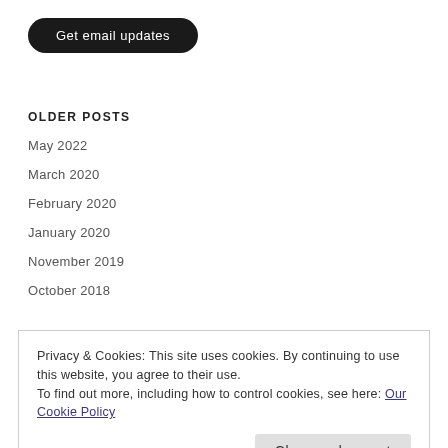Get email updates
OLDER POSTS
May 2022
March 2020
February 2020
January 2020
November 2019
October 2018
Privacy & Cookies: This site uses cookies. By continuing to use this website, you agree to their use.
To find out more, including how to control cookies, see here: Our Cookie Policy
Close and accept